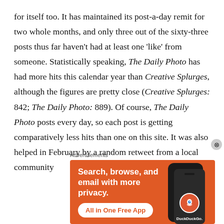for itself too. It has maintained its post-a-day remit for two whole months, and only three out of the sixty-three posts thus far haven't had at least one 'like' from someone. Statistically speaking, The Daily Photo has had more hits this calendar year than Creative Splurges, although the figures are pretty close (Creative Splurges: 842; The Daily Photo: 889). Of course, The Daily Photo posts every day, so each post is getting comparatively less hits than one on this site. It was also helped in February by a random retweet from a local community
Advertisements
[Figure (other): DuckDuckGo advertisement banner with orange background showing 'Search, browse, and email with more privacy. All in One Free App' with phone mockup showing DuckDuckGo logo]